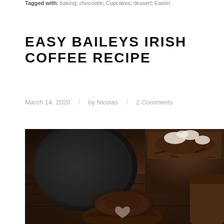Tagged with: baking; chocolate; Cupcakes; dessert; Easter
EASY BAILEYS IRISH COFFEE RECIPE
March 14, 2020 / by Nicolas / 2 Comments
[Figure (photo): Close-up photo of Irish coffee drinks in dark mugs with whipped cream and chocolate shavings on top, alongside a chocolate cupcake with a heart shape on a dark wooden surface]